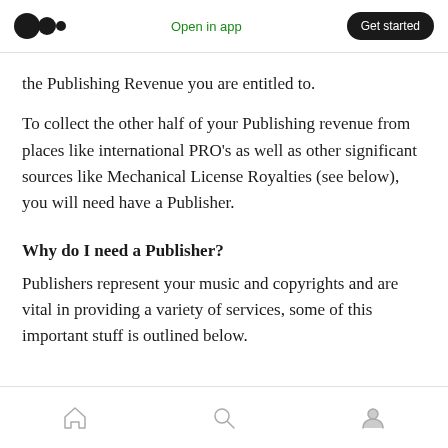Open in app  Get started
the Publishing Revenue you are entitled to.
To collect the other half of your Publishing revenue from places like international PRO's as well as other significant sources like Mechanical License Royalties (see below), you will need have a Publisher.
Why do I need a Publisher?
Publishers represent your music and copyrights and are vital in providing a variety of services, some of this important stuff is outlined below.
Home Search Profile